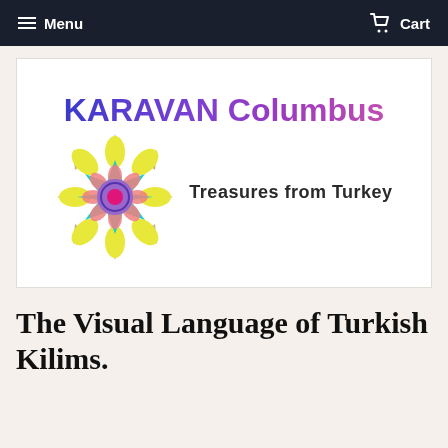≡ Menu   🛒 Cart
[Figure (logo): Karavan Columbus logo — colorful mandala flower on left; bold gradient purple text 'KARAVAN Columbus' at top; italic subtitle 'Treasures from Turkey' on right]
The Visual Language of Turkish Kilims.